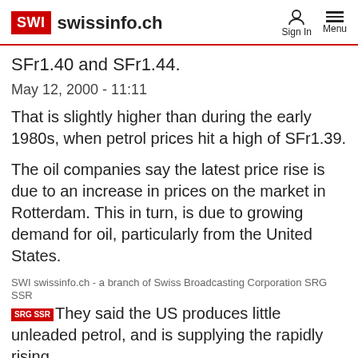SWI swissinfo.ch Sign In Menu
SFr1.40 and SFr1.44.
May 12, 2000 - 11:11
That is slightly higher than during the early 1980s, when petrol prices hit a high of SFr1.39.
The oil companies say the latest price rise is due to an increase in prices on the market in Rotterdam. This in turn, is due to growing demand for oil, particularly from the United States.
SWI swissinfo.ch - a branch of Swiss Broadcasting Corporation SRG SSR
They said the US produces little unleaded petrol, and is supplying the rapidly rising